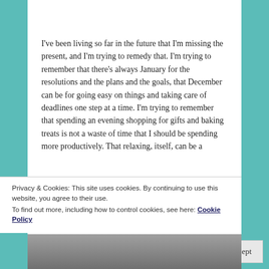I've been living so far in the future that I'm missing the present, and I'm trying to remedy that. I'm trying to remember that there's always January for the resolutions and the plans and the goals, that December can be for going easy on things and taking care of deadlines one step at a time. I'm trying to remember that spending an evening shopping for gifts and baking treats is not a waste of time that I should be spending more productively. That relaxing, itself, can be a
Privacy & Cookies: This site uses cookies. By continuing to use this website, you agree to their use.
To find out more, including how to control cookies, see here:
Cookie Policy
Close and accept